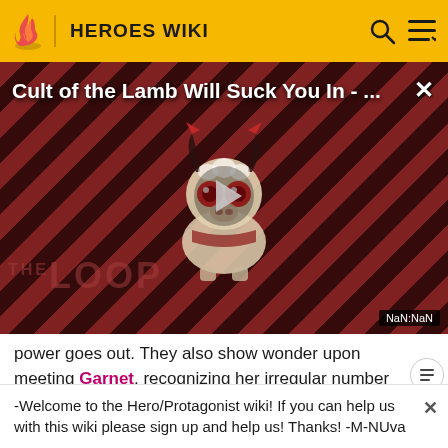HEROES WIKI
[Figure (screenshot): Video thumbnail for 'Cult of the Lamb Will Suck You In - ...' with diagonal red/dark stripe background, cartoon character (demon-horned creature with red eyes), play button in center, 'THE LOOP' watermark, and NaN:NaN timestamp. Close button (×) in top right.]
power goes out. They also show wonder upon meeting Garnet, recognizing her irregular number of eyes as a s she is a fusion. As Padparadscha later notes, Garnet
-Welcome to the Hero/Protagonist wiki! If you can help us with this wiki please sign up and help us! Thanks! -M-NUva